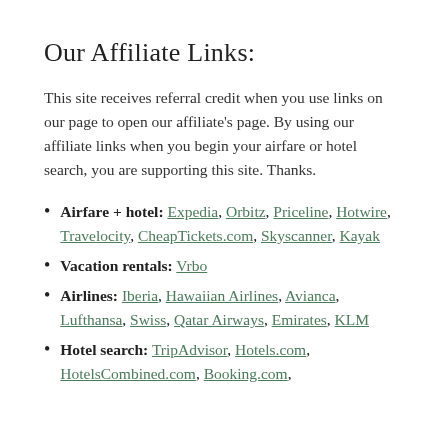Our Affiliate Links:
This site receives referral credit when you use links on our page to open our affiliate's page. By using our affiliate links when you begin your airfare or hotel search, you are supporting this site. Thanks.
Airfare + hotel: Expedia, Orbitz, Priceline, Hotwire, Travelocity, CheapTickets.com, Skyscanner, Kayak
Vacation rentals: Vrbo
Airlines: Iberia, Hawaiian Airlines, Avianca, Lufthansa, Swiss, Qatar Airways, Emirates, KLM
Hotel search: TripAdvisor, Hotels.com, HotelsCombined.com, Booking.com,